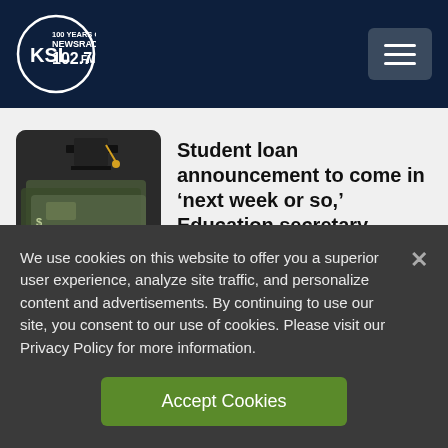KSL NewsRadio 102.7 FM — 100 Years of Trust
Student loan announcement to come in ‘next week or so,’ Education secretary says…
Missing teen runs away from Three Points Center
We use cookies on this website to offer you a superior user experience, analyze site traffic, and personalize content and advertisements. By continuing to use our site, you consent to our use of cookies. Please visit our Privacy Policy for more information.
Accept Cookies